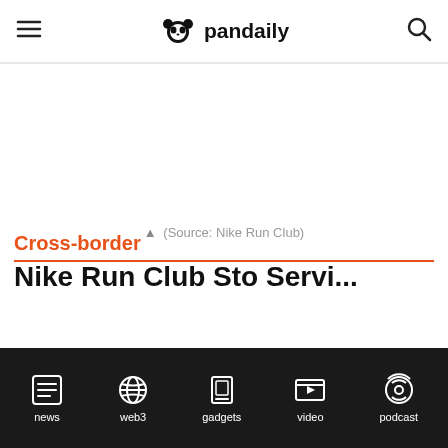pandaily
▲ (Source: Nike Run Club)
Cross-border
Nike Run Club Sto Servi...
news | web3 | gadgets | video | podcast